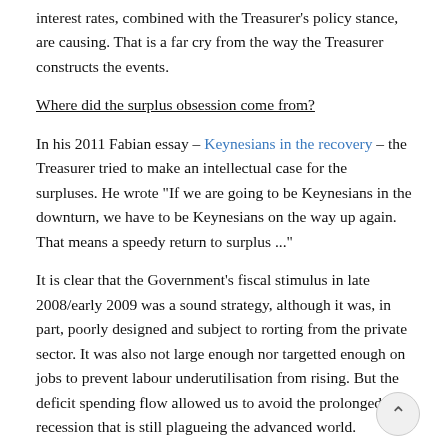interest rates, combined with the Treasurer's policy stance, are causing. That is a far cry from the way the Treasurer constructs the events.
Where did the surplus obsession come from?
In his 2011 Fabian essay – Keynesians in the recovery – the Treasurer tried to make an intellectual case for the surpluses. He wrote "If we are going to be Keynesians in the downturn, we have to be Keynesians on the way up again. That means a speedy return to surplus ..."
It is clear that the Government's fiscal stimulus in late 2008/early 2009 was a sound strategy, although it was, in part, poorly designed and subject to rorting from the private sector. It was also not large enough nor targetted enough on jobs to prevent labour underutilisation from rising. But the deficit spending flow allowed us to avoid the prolonged recession that is still plagueing the advanced world.
Keynes would say that the government should only withdraw